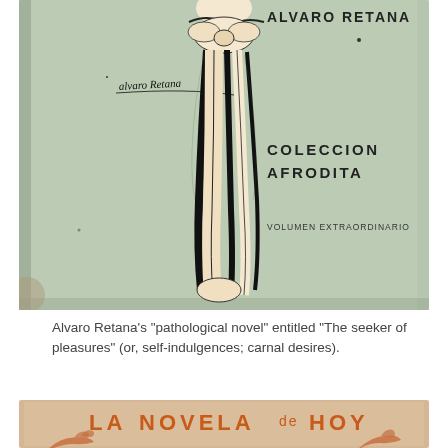[Figure (photo): Book cover of Alvaro Retana's novel from the Coleccion Afrodita series. The cover shows a light green background with a stylized illustration of a figure with a large wrapped scarf. Text on the cover reads: ALVARO RETANA, COLECCION AFRODITA, VOLUMEN EXTRAORDINARIO. There is a handwritten signature 'Alvaro Retana' on the cover.]
Alvaro Retana's "pathological novel" entitled "The seeker of pleasures" (or, self-indulgences; carnal desires).
[Figure (photo): Partial view of another book cover showing orange text 'LA NOVELA DE HOY' on a tan/beige background, with illustrated orange hand/arm shapes at the bottom.]